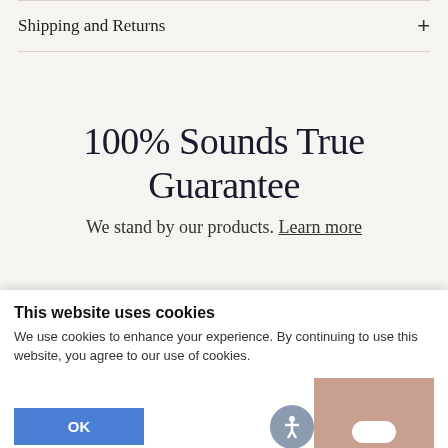Shipping and Returns
100% Sounds True Guarantee
We stand by our products. Learn more
[Figure (illustration): Decorative background graphic with a large rounded arch shape in muted blue-gray tones]
This website uses cookies
We use cookies to enhance your experience. By continuing to use this website, you agree to our use of cookies.
OK
Show details